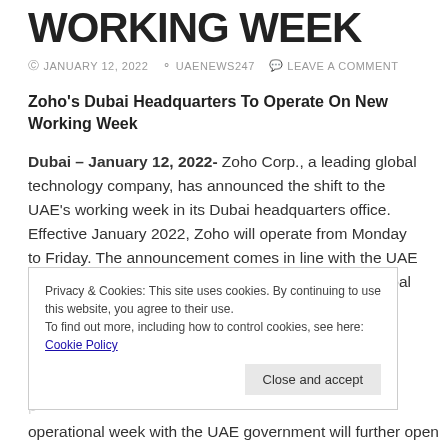WORKING WEEK
JANUARY 12, 2022   UAENEWS247   LEAVE A COMMENT
Zoho's Dubai Headquarters To Operate On New Working Week
Dubai – January 12, 2022- Zoho Corp., a leading global technology company, has announced the shift to the UAE's working week in its Dubai headquarters office. Effective January 2022, Zoho will operate from Monday to Friday. The announcement comes in line with the UAE federal government's announcement to align with global markets.
Privacy & Cookies: This site uses cookies. By continuing to use this website, you agree to their use.
To find out more, including how to control cookies, see here: Cookie Policy
Close and accept
operational week with the UAE government will further open